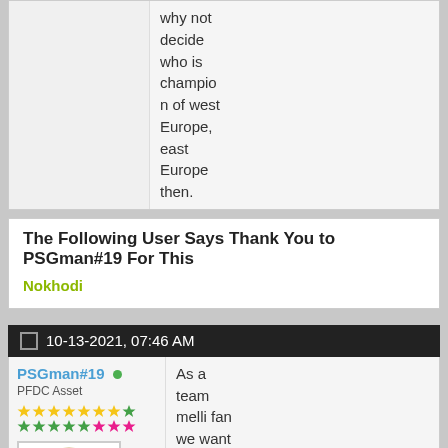why not decide who is champion of west Europe, east Europe then.
The Following User Says Thank You to PSGman#19 For This
Nokhodi
10-13-2021, 07:46 AM
PSGman#19
PFDC Asset
As a team melli fan we want our team to play the best. We are all